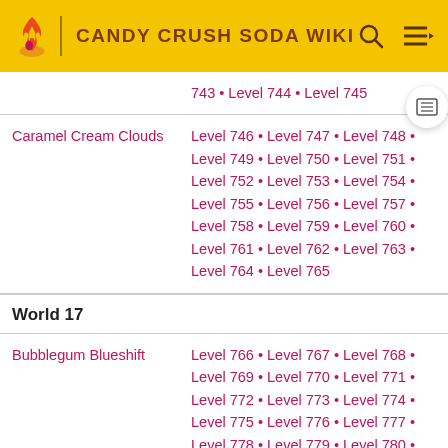CANDY CRUSH SODA WIKI
| Episode | Levels |
| --- | --- |
|  | 743 • Level 744 • Level 745 |
| Caramel Cream Clouds | Level 746 • Level 747 • Level 748 • Level 749 • Level 750 • Level 751 • Level 752 • Level 753 • Level 754 • Level 755 • Level 756 • Level 757 • Level 758 • Level 759 • Level 760 • Level 761 • Level 762 • Level 763 • Level 764 • Level 765 |
| World 17 |  |
| Bubblegum Blueshift | Level 766 • Level 767 • Level 768 • Level 769 • Level 770 • Level 771 • Level 772 • Level 773 • Level 774 • Level 775 • Level 776 • Level 777 • Level 778 • Level 779 • Level 780 • Level 781 • Level 782 • Level |